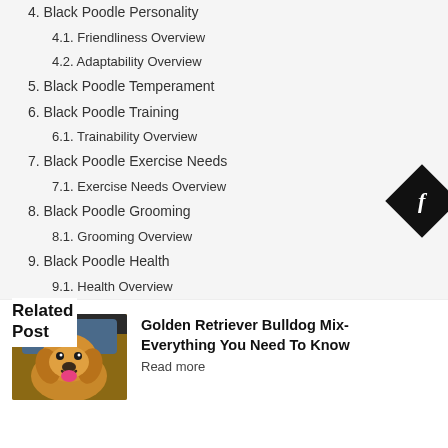4. Black Poodle Personality
4.1. Friendliness Overview
4.2. Adaptability Overview
5. Black Poodle Temperament
6. Black Poodle Training
6.1. Trainability Overview
7. Black Poodle Exercise Needs
7.1. Exercise Needs Overview
8. Black Poodle Grooming
8.1. Grooming Overview
9. Black Poodle Health
9.1. Health Overview
10. Black Poodle Diet and Nutrition
11. Black Poodle Living Condition
12. Cost of a Black Poodle:
13. Adding a Black Poodle to Your Family
…Black Poodle Images
…Black Poodle Videos
Related Post
[Figure (photo): Golden Retriever dog smiling in a car]
Golden Retriever Bulldog Mix- Everything You Need To Know
Read more